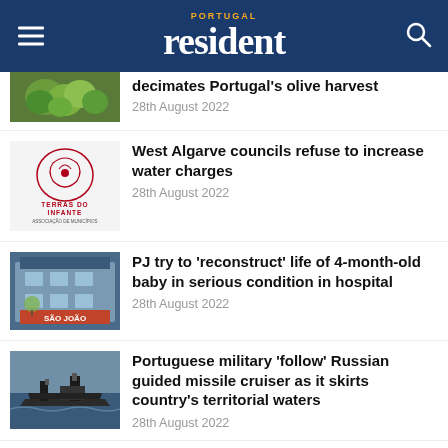PORTUGAL resident
decimates Portugal's olive harvest
28th August 2022
West Algarve councils refuse to increase water charges
28th August 2022
PJ try to 'reconstruct' life of 4-month-old baby in serious condition in hospital
28th August 2022
Portuguese military 'follow' Russian guided missile cruiser as it skirts country's territorial waters
28th August 2022
Music, inspiration and reflection at